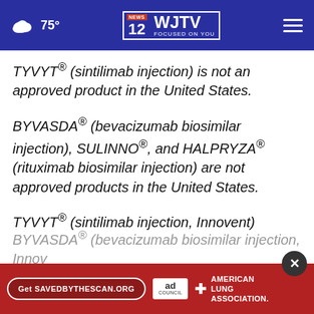75° | WJTV 12 News Focused on You
TYVYT® (sintilimab injection) is not an approved product in the United States.
BYVASDA® (bevacizumab biosimilar injection), SULINNO®, and HALPRYZA® (rituximab biosimilar injection) are not approved products in the United States.
TYVYT® (sintilimab injection, Innovent)
BYVASDA® (bevacizumab biosimilar injection, Innov...
[Figure (screenshot): American Lung Association advertisement bar with 'Get SAVEDBYTHESCAN.ORG' button, Ad Council logo, and American Lung Association logo]